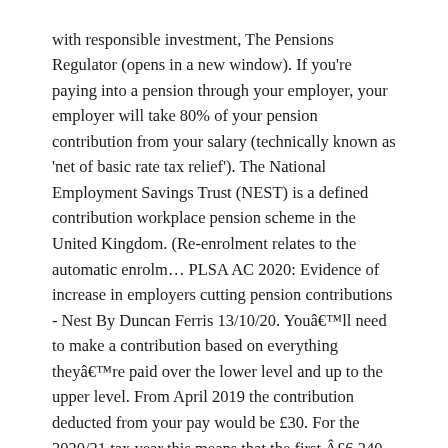with responsible investment, The Pensions Regulator (opens in a new window). If you're paying into a pension through your employer, your employer will take 80% of your pension contribution from your salary (technically known as 'net of basic rate tax relief'). The National Employment Savings Trust (NEST) is a defined contribution workplace pension scheme in the United Kingdom. (Re-enrolment relates to the automatic enrolm… PLSA AC 2020: Evidence of increase in employers cutting pension contributions - Nest By Duncan Ferris 13/10/20. You'll need to make a contribution based on everything they're paid over the lower level and up to the upper level. From April 2019 the contribution deducted from your pay would be £30. For the 2020/21 tax year this means that the first £6,240 of their earnings isn't included in the calculation. The members rate has increased from 3% to 5%, the employers rate from 2% to 3%. My Nest pension